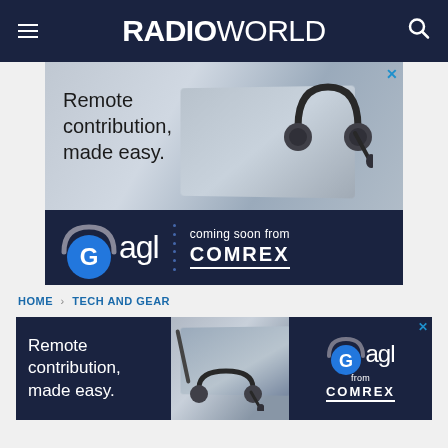RADIOWORLD
[Figure (photo): Advertisement banner for Gagl by Comrex. Top half shows a laptop with headset and text 'Remote contribution, made easy.' Bottom half shows dark navy background with Gagl logo and 'coming soon from COMREX' text.]
HOME › TECH AND GEAR
[Figure (photo): Smaller advertisement for Gagl by Comrex. Left section shows 'Remote contribution, made easy.' on dark navy. Middle shows laptop and headset photo. Right shows Gagl logo with 'from COMREX' on dark navy.]